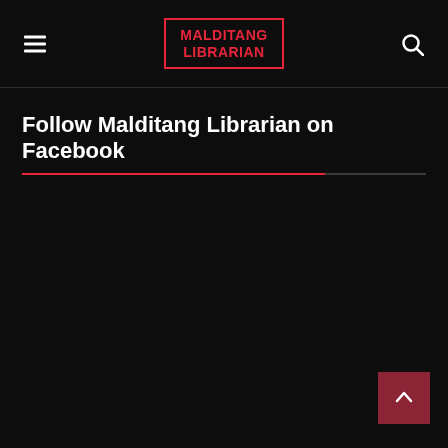MALDITANG LIBRARIAN
Follow Malditang Librarian on Facebook